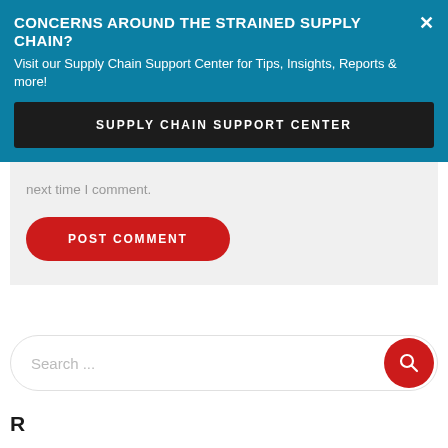CONCERNS AROUND THE STRAINED SUPPLY CHAIN?
Visit our Supply Chain Support Center for Tips, Insights, Reports & more!
SUPPLY CHAIN SUPPORT CENTER
next time I comment.
POST COMMENT
Search ...